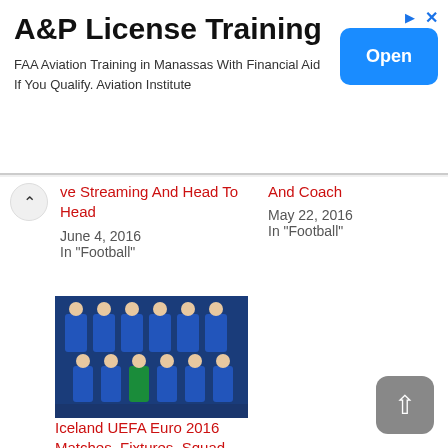[Figure (other): Advertisement banner for A&P License Training]
A&P License Training
FAA Aviation Training in Manassas With Financial Aid If You Qualify. Aviation Institute
ve Streaming And Head To Head
June 4, 2016
In "Football"
And Coach
May 22, 2016
In "Football"
[Figure (photo): Iceland national football team squad photo in blue kits]
Iceland UEFA Euro 2016 Matches, Fixtures, Squad, Predictions, News And Coach
May 22, 2016
In "Football"